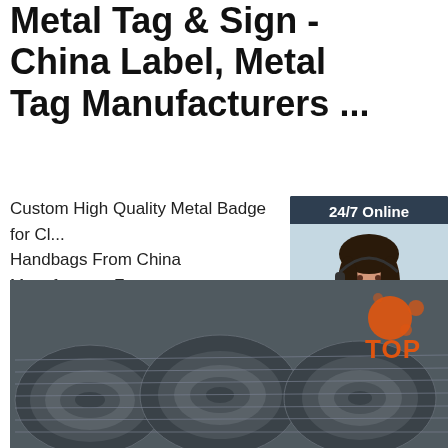Metal Tag & Sign - China Label, Metal Tag Manufacturers ...
Custom High Quality Metal Badge for Cl... Handbags From China Manufacture. Fea... Product. FOB Price: $0.1 - $0.5 Piece. M... 500 Pieces. Metal badge details: The pa... factory scene: Packaging Details: Poly b... carton and some other packing materials... on client`s requirement (luggage ...
[Figure (screenshot): 24/7 Online chat widget with a photo of a woman with headset, 'Click here for free chat!' text, and orange QUOTATION button]
Get Price
[Figure (photo): Large coils of metal wire/steel wire rod stacked together, with a TOP logo overlay in the bottom right]